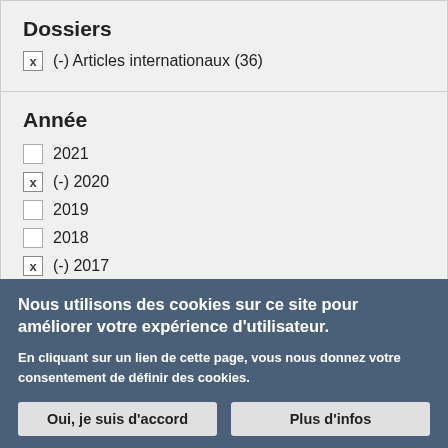Dossiers
x (-) Articles internationaux (36)
Année
☐ 2021
x (-) 2020
☐ 2019
☐ 2018
x (-) 2017
Nous utilisons des cookies sur ce site pour améliorer votre expérience d'utilisateur.
En cliquant sur un lien de cette page, vous nous donnez votre consentement de définir des cookies.
Oui, je suis d'accord   Plus d'infos